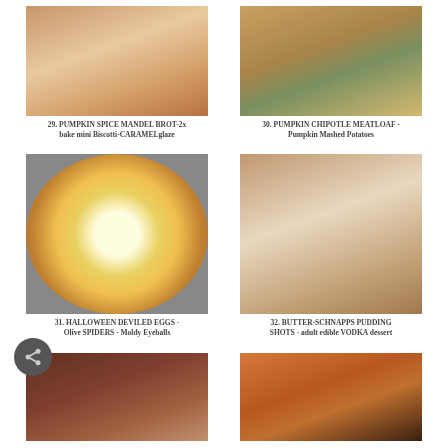[Figure (photo): Photo of pumpkin spice mandel brot / mini biscotti with caramel glaze]
29. PUMPKIN SPICE MANDEL BROT-2x bake mini Biscotti-CARAMELglaze
[Figure (photo): Photo of pumpkin chipotle meatloaf with pumpkin mashed potatoes]
30. PUMPKIN CHIPOTLE MEATLOAF - Pumpkin Mashed Potatoes
[Figure (photo): Photo of Halloween deviled eggs decorated as eyeballs with olive spiders]
31. HALLOWEEN DEVILED EGGS - Olive SPIDERS - Moldy Eyeballs
[Figure (photo): Photo of butter-schnapps pudding shots in a glass, adult edible VODKA dessert]
32. BUTTER-SCHNAPPS PUDDING SHOTS - adult edible VODKA dessert
[Figure (photo): Photo of a food dish in a dark bowl]
[Figure (photo): Photo of a person holding a knitted/woven item in Halloween colors]